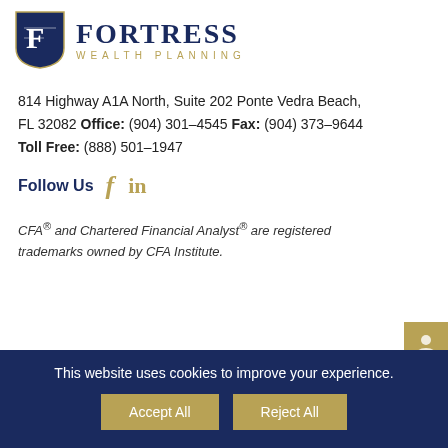[Figure (logo): Fortress Wealth Planning logo with navy shield and gold text]
814 Highway A1A North, Suite 202 Ponte Vedra Beach, FL 32082 Office: (904) 301-4545 Fax: (904) 373-9644 Toll Free: (888) 501-1947
Follow Us
CFA® and Chartered Financial Analyst® are registered trademarks owned by CFA Institute.
This website uses cookies to improve your experience.